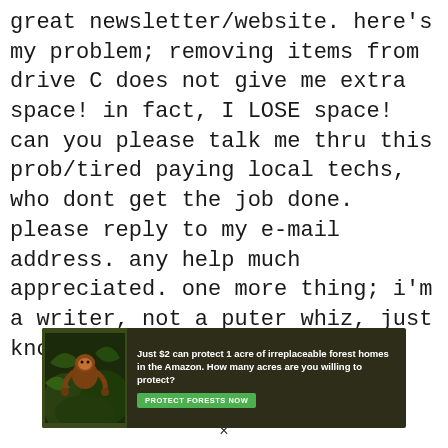great newsletter/website. here's my problem; removing items from drive C does not give me extra space! in fact, I LOSE space! can you please talk me thru this prob/tired paying local techs, who dont get the job done. please reply to my e-mail address. any help much appreciated. one more thing; i'm a writer, not a puter whiz, just know and use the basics. thnx
[Figure (infographic): Advertisement banner with dark forest background showing an animal (primate/orangutan) among foliage. Text reads: 'Just $2 can protect 1 acre of irreplaceable forest homes in the Amazon. How many acres are you willing to protect?' with a green button labeled 'PROTECT FORESTS NOW']
×